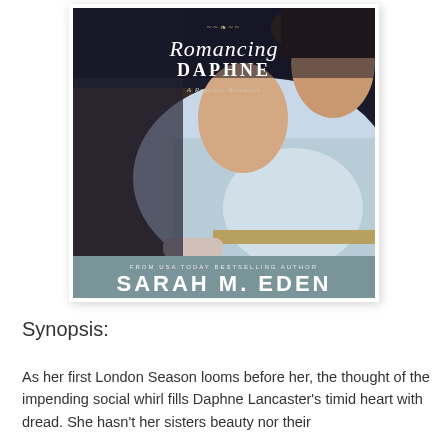[Figure (illustration): Book cover of 'Romancing Daphne: A Regency Romance' by Sarah M. Eden. Shows a young woman in a light blue Regency-era dress with gloves, photographed from the shoulders up with her face slightly turned. The top portion has a dark background with the title in script and serif fonts. The bottom has a muted blue-grey band with the author name in large white uppercase letters and a small note 'FROM USA TODAY BESTSELLING AUTHOR'.]
Synopsis:
As her first London Season looms before her, the thought of the impending social whirl fills Daphne Lancaster's timid heart with dread. She hasn't her sisters beauty nor their